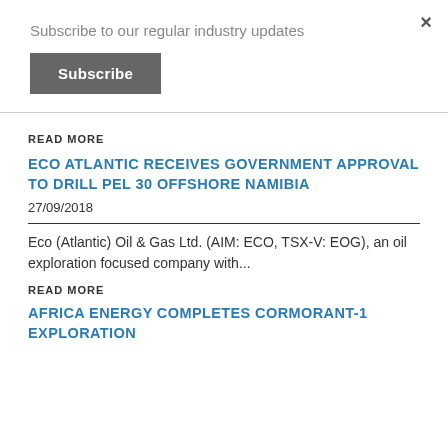Subscribe to our regular industry updates
Subscribe
READ MORE
ECO ATLANTIC RECEIVES GOVERNMENT APPROVAL TO DRILL PEL 30 OFFSHORE NAMIBIA
27/09/2018
Eco (Atlantic) Oil & Gas Ltd. (AIM: ECO, TSX-V: EOG), an oil exploration focused company with...
READ MORE
AFRICA ENERGY COMPLETES CORMORANT-1 EXPLORATION